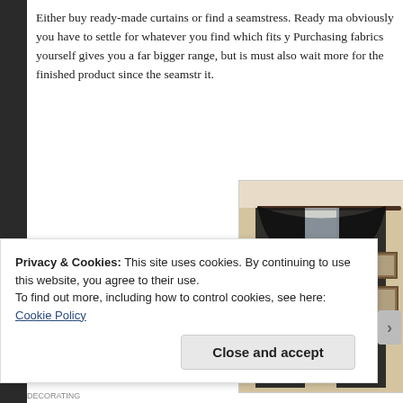Either buy ready-made curtains or find a seamstress. Ready ma obviously you have to settle for whatever you find which fits y Purchasing fabrics yourself gives you a far bigger range, but is must also wait more for the finished product since the seamstr it.
[Figure (photo): Photo of black sheer curtains draped elegantly over a curtain rod in a room with wooden furniture and framed pictures on the wall]
Privacy & Cookies: This site uses cookies. By continuing to use this website, you agree to their use.
To find out more, including how to control cookies, see here:
Cookie Policy
Close and accept
DECORATING